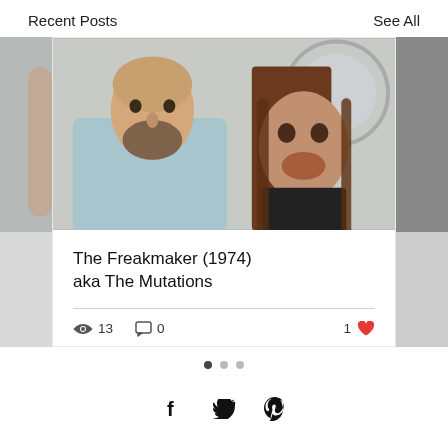Recent Posts
See All
[Figure (photo): A bald bearded man in a light blue cape/gown sitting next to a person with a horror prosthetic makeup (long brown hair, disfigured face) — appears to be a still from the 1974 horror film The Freakmaker aka The Mutations.]
The Freakmaker (1974) aka The Mutations
13 views  0 comments  1 like
[Figure (other): Pagination dots: three dots, first one filled dark (active), two light grey.]
[Figure (other): Social share icons: Facebook, Twitter, Pinterest]